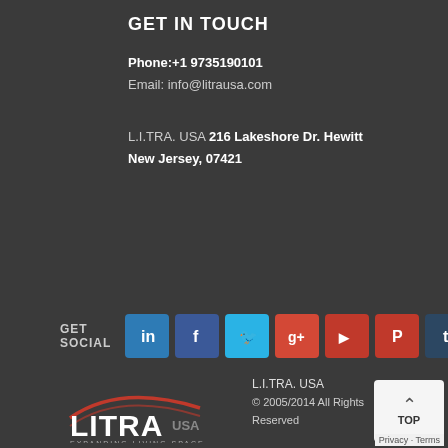GET IN TOUCH
Phone:+1 9735190101
Email: info@litrausa.com
L.I.TRA. USA 216 Lakeshore Dr. Hewitt New Jersey, 07421
GET SOCIAL
[Figure (infographic): Row of social media icon buttons: LinkedIn, Facebook, Twitter, Google+, YouTube, Pinterest, Tumblr]
[Figure (logo): LITRA USA logo with swoosh graphic and text EXPANDING LIVING SPACE]
L.I.TRA. USA
© 2005/2014 All Rights Reserved
[Figure (infographic): TOP button with upward arrow]
Privacy · Terms